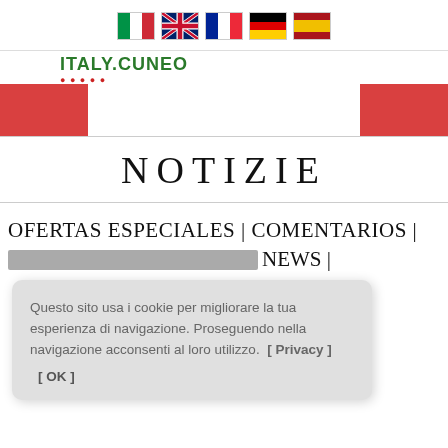[Figure (illustration): Row of five country flag emoji icons: Italy, UK, France, Germany, Spain]
ITALY.CUNEO
[Figure (illustration): Two red rectangular banner blocks on left and right sides of the page]
NOTIZIE
OFERTAS ESPECIALES | COMENTARIOS | NEWS |
Questo sito usa i cookie per migliorare la tua esperienza di navigazione. Proseguendo nella navigazione acconsenti al loro utilizzo. [ Privacy ] [ OK ]